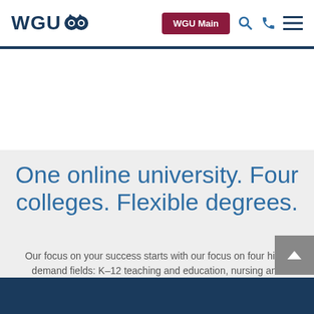WGU — WGU Main [navigation header with search, phone, and menu icons]
One online university. Four colleges. Flexible degrees.
Our focus on your success starts with our focus on four high-demand fields: K–12 teaching and education, nursing and healthcare, information technology, and business. Every degree program at WGU is tied to a high-growth, highly rewarding career path. Which college fits you?